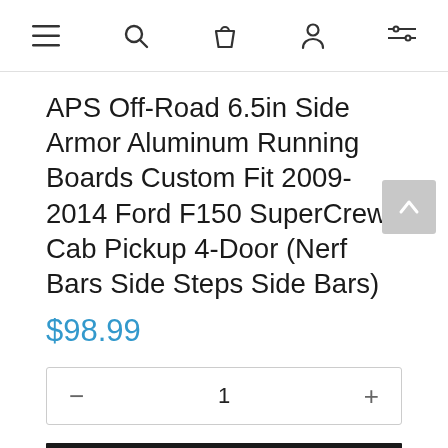Navigation bar with menu, search, cart, account, and filter icons
APS Off-Road 6.5in Side Armor Aluminum Running Boards Custom Fit 2009-2014 Ford F150 SuperCrew Cab Pickup 4-Door (Nerf Bars Side Steps Side Bars)
$98.99
1
ADD TO CART